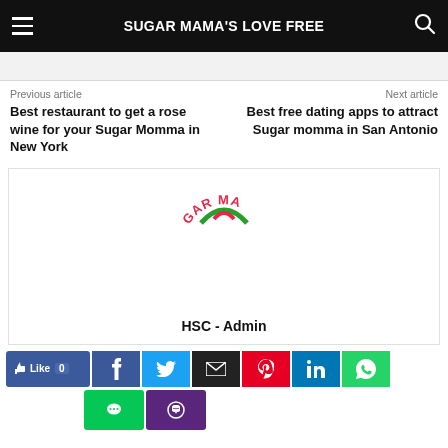SUGAR MAMA'S LOVE FREE
Previous article
Next article
Best restaurant to get a rose wine for your Sugar Momma in New York
Best free dating apps to attract Sugar momma in San Antonio
[Figure (logo): Partial Sugar Mama logo with arched red text and green/red symbol]
HSC - Admin
[Figure (infographic): Social share buttons: Facebook, Twitter, Email, Pinterest, LinkedIn, WhatsApp, Line, Viber; and a Like button with count 0]